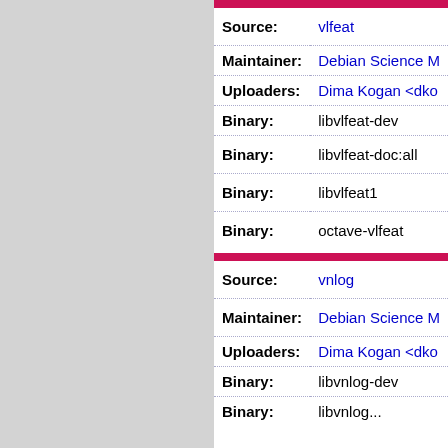| Field | Value |
| --- | --- |
| Source: | vlfeat |
| Maintainer: | Debian Science M... |
| Uploaders: | Dima Kogan <dko... |
| Binary: | libvlfeat-dev |
| Binary: | libvlfeat-doc:all |
| Binary: | libvlfeat1 |
| Binary: | octave-vlfeat |
| Field | Value |
| --- | --- |
| Source: | vnlog |
| Maintainer: | Debian Science M... |
| Uploaders: | Dima Kogan <dko... |
| Binary: | libvnlog-dev |
| Binary: | libvnlog... |